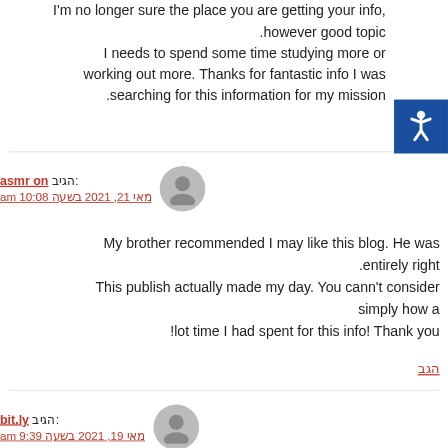I'm no longer sure the place you are getting your info, .however good topic I needs to spend some time studying more or working out more. Thanks for fantastic info I was .searching for this information for my mission
הגב
:הגיב asmr on | מאי 21, 2021 בשעה 10:08 am
My brother recommended I may like this blog. He was .entirely right This publish actually made my day. You cann't consider simply how a !lot time I had spent for this info! Thank you
הגב
:הגיב bit.ly | מאי 19, 2021 בשעה 9:39 am